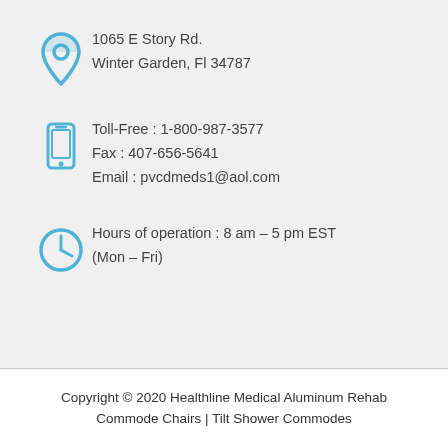1065 E Story Rd.
Winter Garden, Fl 34787
Toll-Free : 1-800-987-3577
Fax : 407-656-5641
Email : pvcdmeds1@aol.com
Hours of operation : 8 am – 5 pm EST
(Mon – Fri)
Copyright © 2020 Healthline Medical Aluminum Rehab Commode Chairs | Tilt Shower Commodes